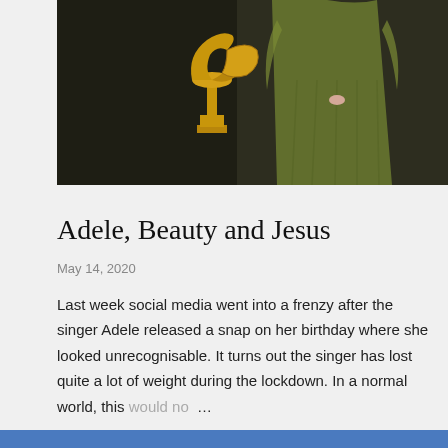[Figure (photo): Photo of a person in an olive/green dress standing in front of a dark background with a Grammy trophy visible]
Adele, Beauty and Jesus
May 14, 2020
Last week social media went into a frenzy after the singer Adele released a snap on her birthday where she looked unrecognisable. It turns out the singer has lost quite a lot of weight during the lockdown. In a normal world, this would no ...
SHARE   POST A COMMENT   KEEP READING →